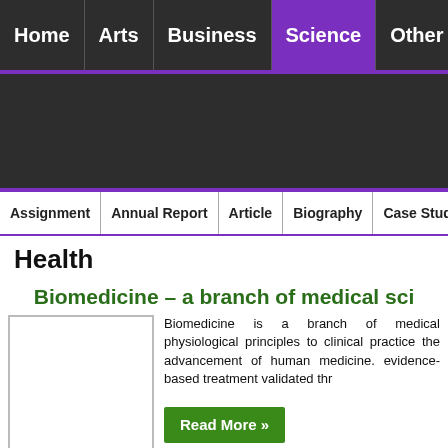Home | Arts | Business | Science | Other
[Figure (screenshot): Dark advertisement banner area]
Assignment | Annual Report | Article | Biography | Case Study | Essay | Interns...
Health
Biomedicine – a branch of medical sci...
[Figure (photo): Placeholder image for Biomedicine article]
Biomedicine is a branch of medical physiological principles to clinical practice the advancement of human medicine. evidence-based treatment validated thr...
Read More »
Selenium Deficiency